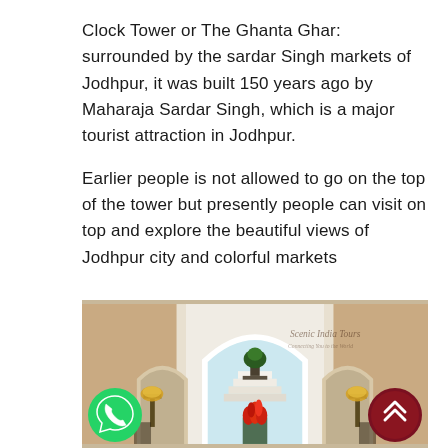Clock Tower or The Ghanta Ghar: surrounded by the sardar Singh markets of Jodhpur, it was built 150 years ago by Maharaja Sardar Singh, which is a major tourist attraction in Jodhpur.
Earlier people is not allowed to go on the top of the tower but presently people can visit on top and explore the beautiful views of Jodhpur city and colorful markets
[Figure (photo): Interior courtyard of a Rajasthani building with white Mughal-style arched entryways, decorative lamps on ornate stands, a flower arrangement with red flowers in the foreground, and a plant on a pedestal in the background. Watermark reads 'Scenic India Tours'.]